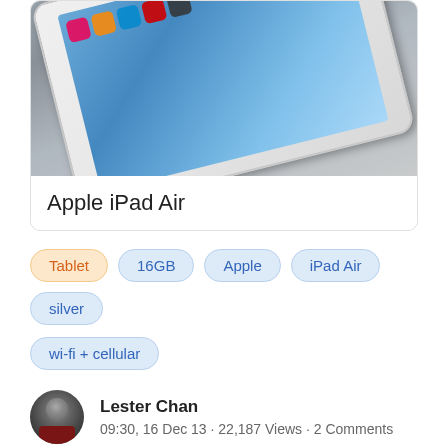[Figure (photo): Photo of an Apple iPad Air tablet lying on a light gray surface, showing the screen with app icons visible, shot from an angled perspective.]
Apple iPad Air
Tablet
16GB
Apple
iPad Air
silver
wi-fi + cellular
Lester Chan
09:30, 16 Dec 13 · 22,187 Views · 2 Comments
Advertisement